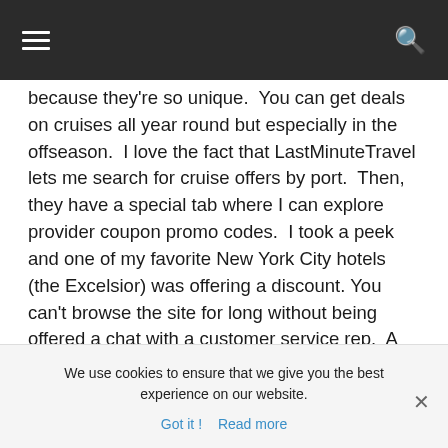Navigation bar with hamburger menu and search icon
because they’re so unique.  You can get deals on cruises all year round but especially in the offseason.  I love the fact that LastMinuteTravel lets me search for cruise offers by port.  Then, they have a special tab where I can explore provider coupon promo codes.  I took a peek and one of my favorite New York City hotels (the Excelsior) was offering a discount. You can’t browse the site for long without being offered a chat with a customer service rep.  A smiling face pops up and says she can help you design a trip.  Why not?  Be sure to join the club to get more bargains.
We use cookies to ensure that we give you the best experience on our website.
Got it !  Read more